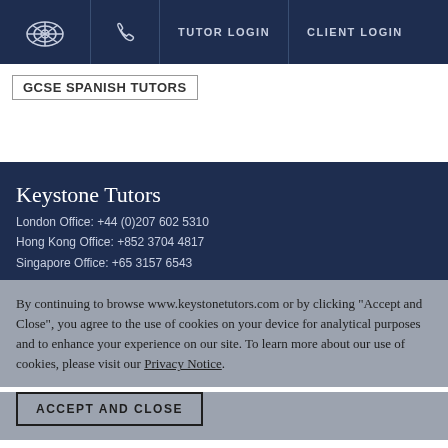TUTOR LOGIN | CLIENT LOGIN
GCSE SPANISH TUTORS
Keystone Tutors
London Office: +44 (0)207 602 5310
Hong Kong Office: +852 3704 4817
Singapore Office: +65 3157 6543
By continuing to browse www.keystonetutors.com or by clicking "Accept and Close", you agree to the use of cookies on your device for analytical purposes and to enhance your experience on our site. To learn more about our use of cookies, please visit our Privacy Notice.
ACCEPT AND CLOSE